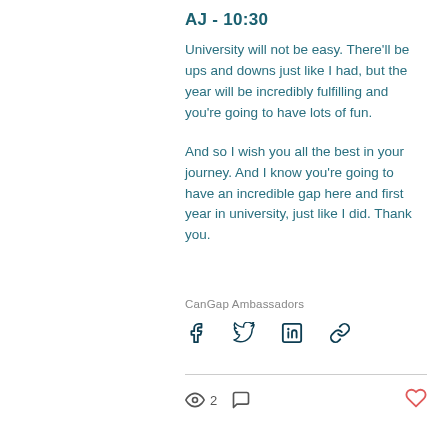AJ - 10:30
University will not be easy. There'll be ups and downs just like I had, but the year will be incredibly fulfilling and you're going to have lots of fun.
And so I wish you all the best in your journey. And I know you're going to have an incredible gap here and first year in university, just like I did. Thank you.
CanGap Ambassadors
[Figure (infographic): Social share icons: Facebook, Twitter, LinkedIn, Link/chain icon]
[Figure (infographic): Engagement bar: eye/views icon with count 2, comment icon, heart/like icon]